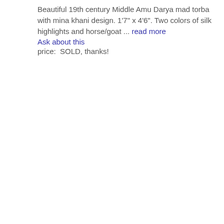Beautiful 19th century Middle Amu Darya mad torba with mina khani design. 1'7" x 4'6". Two colors of silk highlights and horse/goat ... read more
Ask about this
price:  SOLD, thanks!